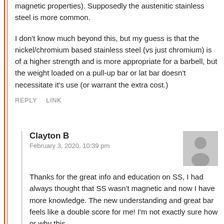magnetic properties). Supposedly the austenitic stainless steel is more common.
I don't know much beyond this, but my guess is that the nickel/chromium based stainless steel (vs just chromium) is of a higher strength and is more appropriate for a barbell, but the weight loaded on a pull-up bar or lat bar doesn't necessitate it's use (or warrant the extra cost.)
REPLY    LINK
Clayton B
February 3, 2020, 10:39 pm
Thanks for the great info and education on SS, I had always thought that SS wasn't magnetic and now I have more knowledge. The new understanding and great bar feels like a double score for me! I'm not exactly sure how or why this